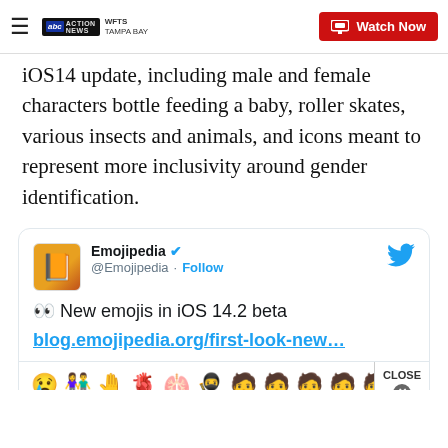WFTS Tampa Bay — Watch Now
iOS14 update, including male and female characters bottle feeding a baby, roller skates, various insects and animals, and icons meant to represent more inclusivity around gender identification.
[Figure (screenshot): Embedded tweet from @Emojipedia with text: 👀 New emojis in iOS 14.2 beta blog.emojipedia.org/first-look-new… with emoji image strip below]
CLOSE